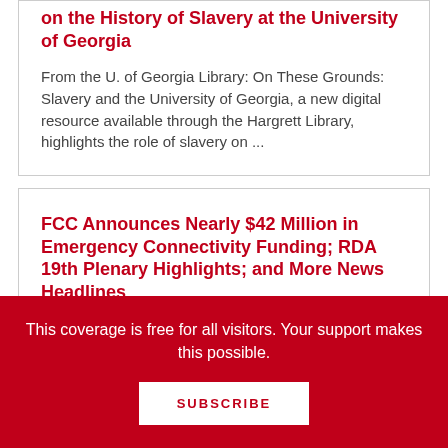on the History of Slavery at the University of Georgia
From the U. of Georgia Library: On These Grounds: Slavery and the University of Georgia, a new digital resource available through the Hargrett Library, highlights the role of slavery on ...
FCC Announces Nearly $42 Million in Emergency Connectivity Funding; RDA 19th Plenary Highlights; and More News Headlines
This coverage is free for all visitors. Your support makes this possible.
SUBSCRIBE